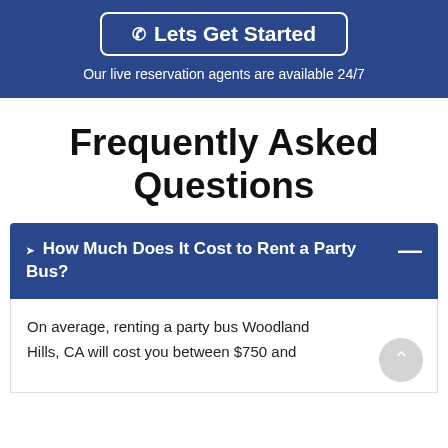[Figure (screenshot): Blue call-to-action button with phone icon and text 'Lets Get Started', with subtitle 'Our live reservation agents are available 24/7']
Frequently Asked Questions
❯ How Much Does It Cost to Rent a Party Bus?
On average, renting a party bus Woodland Hills, CA will cost you between $750 and